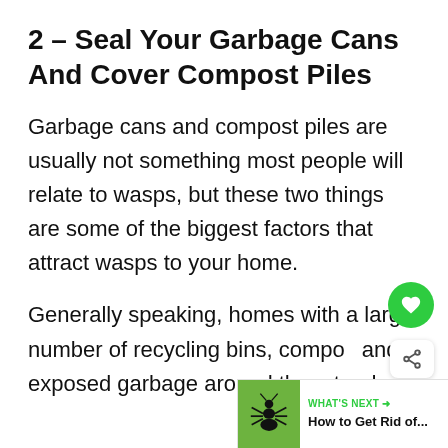2 – Seal Your Garbage Cans And Cover Compost Piles
Garbage cans and compost piles are usually not something most people will relate to wasps, but these two things are some of the biggest factors that attract wasps to your home.
Generally speaking, homes with a large number of recycling bins, compo... and exposed garbage around them tend